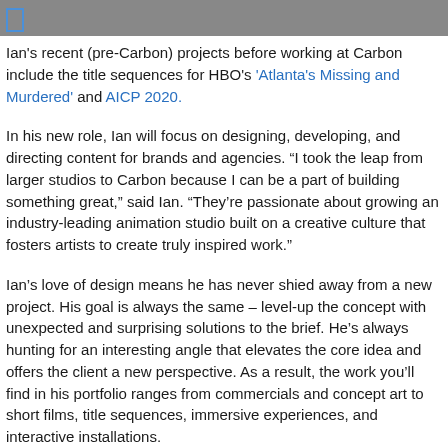Ian's recent (pre-Carbon) projects before working at Carbon include the title sequences for HBO's 'Atlanta's Missing and Murdered' and AICP 2020.
In his new role, Ian will focus on designing, developing, and directing content for brands and agencies. “I took the leap from larger studios to Carbon because I can be a part of building something great,” said Ian. “They’re passionate about growing an industry-leading animation studio built on a creative culture that fosters artists to create truly inspired work.”
Ian’s love of design means he has never shied away from a new project. His goal is always the same – level-up the concept with unexpected and surprising solutions to the brief. He’s always hunting for an interesting angle that elevates the core idea and offers the client a new perspective. As a result, the work you’ll find in his portfolio ranges from commercials and concept art to short films, title sequences, immersive experiences, and interactive installations.
Marvel’s ‘Spider-Man Homecoming’ features Ian’s design work. Working with Marvel and Perception as a Concept Artist, he helped